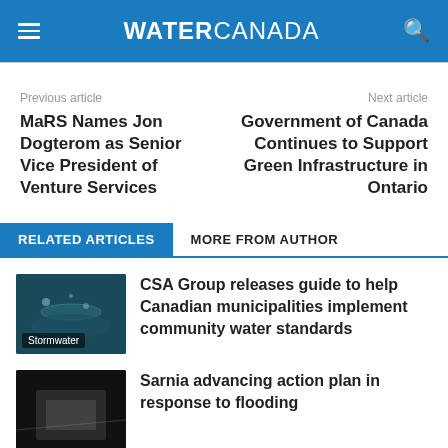WATER CANADA
Previous article
Next article
MaRS Names Jon Dogterom as Senior Vice President of Venture Services
Government of Canada Continues to Support Green Infrastructure in Ontario
RELATED ARTICLES | MORE FROM AUTHOR
CSA Group releases guide to help Canadian municipalities implement community water standards
Sarnia advancing action plan in response to flooding